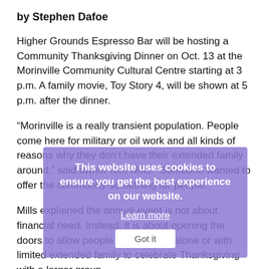by Stephen Dafoe
Higher Grounds Espresso Bar will be hosting a Community Thanksgiving Dinner on Oct. 13 at the Morinville Community Cultural Centre starting at 3 p.m. A family movie, Toy Story 4, will be shown at 5 p.m. after the dinner.
“Morinville is a really transient population. People come here for military or oil work and all kinds of reasons why they don’t have their extended family around,” said owner Kim Mills. “Someone wanted to offer the community something for people.”
Mills explained the annual event is not about financial need. Instead, it is about opening the doors to allow people who may be alone or with limited extended family to celebrate Thanksgiving with a larger group.